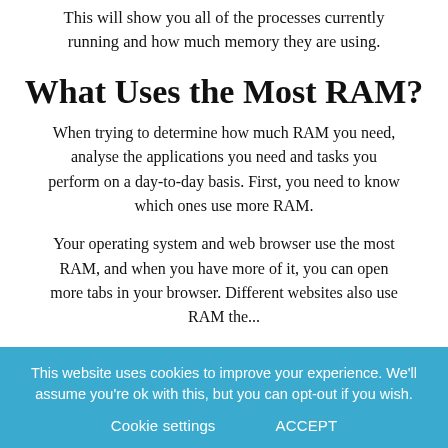This will show you all of the processes currently running and how much memory they are using.
What Uses the Most RAM?
When trying to determine how much RAM you need, analyse the applications you need and tasks you perform on a day-to-day basis. First, you need to know which ones use more RAM.
Your operating system and web browser use the most RAM, and when you have more of it, you can open more tabs in your browser. Different websites also use RAM the...
This website uses cookies to improve your experience. We'll assume you're ok with this, but you can opt-out if you wish. Cookie settings ACCEPT